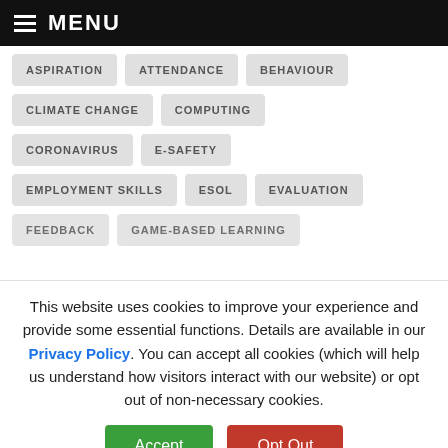MENU
ASPIRATION
ATTENDANCE
BEHAVIOUR
CLIMATE CHANGE
COMPUTING
CORONAVIRUS
E-SAFETY
EMPLOYMENT SKILLS
ESOL
EVALUATION
FEEDBACK
GAME-BASED LEARNING
This website uses cookies to improve your experience and provide some essential functions. Details are available in our Privacy Policy. You can accept all cookies (which will help us understand how visitors interact with our website) or opt out of non-necessary cookies.